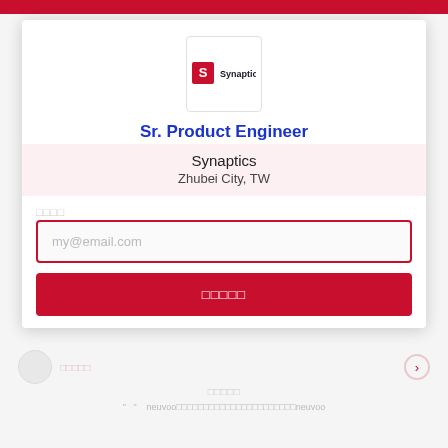[Figure (logo): Synaptics company logo in a white bordered box]
Sr. Product Engineer
Synaptics
Zhubei City, TW
□□□□
my@email.com
□□□□□
□□□□□
" " neuvoo□□□□□□□□□□□□□□□□□□□□□□neuvoo